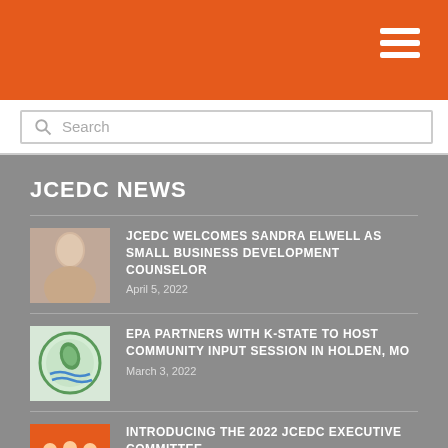JCEDC website header with hamburger menu
Search
JCEDC NEWS
JCEDC WELCOMES SANDRA ELWELL AS SMALL BUSINESS DEVELOPMENT COUNSELOR
April 5, 2022
EPA PARTNERS WITH K-STATE TO HOST COMMUNITY INPUT SESSION IN HOLDEN, MO
March 3, 2022
INTRODUCING THE 2022 JCEDC EXECUTIVE COMMITTEE
February 10, 2022